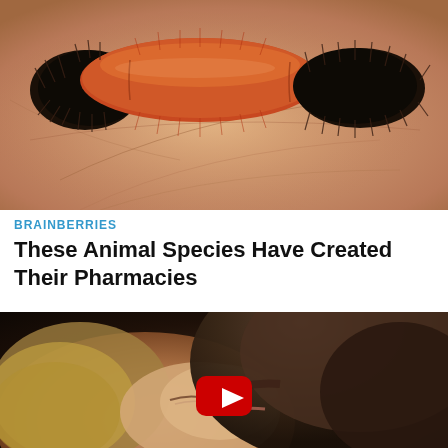[Figure (photo): Close-up photograph of a woolly bear caterpillar (red-orange and black fuzzy) resting on a human palm]
BRAINBERRIES
These Animal Species Have Created Their Pharmacies
[Figure (photo): Video thumbnail showing two people in an intimate embrace with a YouTube play button overlay]